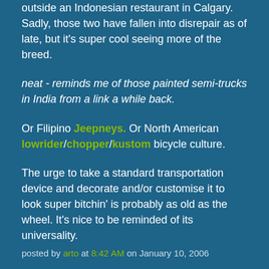outside an Indonesian restaurant in Calgary. Sadly, those two have fallen into disrepair as of late, but it's super cool seeing more of the breed.
neat - reminds me of those painted semi-trucks in India from a link a while back.
Or Filipino Jeepneys. Or North American lowrider/chopper/kustom bicycle culture.
The urge to take a standard transportation device and decorate and/or customise it to look super bitchin' is probably as old as the wheel. It's nice to be reminded of its universality.
posted by arto at 8:42 AM on January 10, 2006
[this is cool] - another fascinatng post from dhruva - thanks!
posted by madamjujujive at 9:54 AM on January 10, 2006